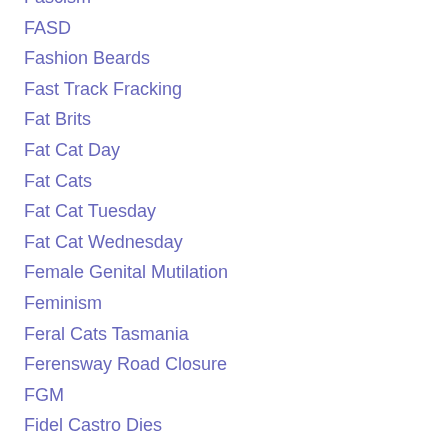Fascism
FASD
Fashion Beards
Fast Track Fracking
Fat Brits
Fat Cat Day
Fat Cats
Fat Cat Tuesday
Fat Cat Wednesday
Female Genital Mutilation
Feminism
Feral Cats Tasmania
Ferensway Road Closure
FGM
Fidel Castro Dies
Finance
Firefighter Killed
Fireworks